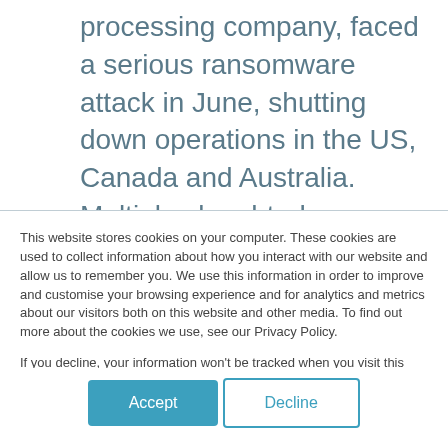processing company, faced a serious ransomware attack in June, shutting down operations in the US, Canada and Australia. Multiple slaughterhouses were brought to a halt, and with the company supplying almost a fifth of the world's meat supply, the attack also prevented the U.S.
This website stores cookies on your computer. These cookies are used to collect information about how you interact with our website and allow us to remember you. We use this information in order to improve and customise your browsing experience and for analytics and metrics about our visitors both on this website and other media. To find out more about the cookies we use, see our Privacy Policy.
If you decline, your information won't be tracked when you visit this website. A single cookie will be used in your browser to remember your preference not to be tracked.
Accept | Decline